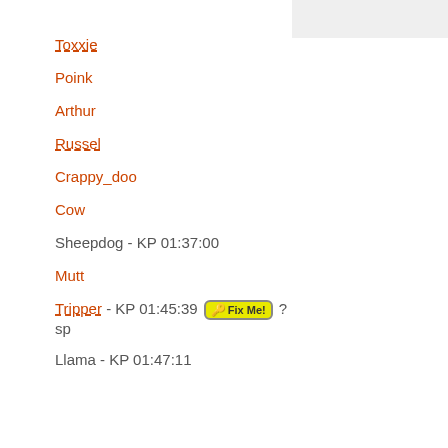Toxxie
Poink
Arthur
Russel
Crappy_doo
Cow
Sheepdog - KP 01:37:00
Mutt
Tripper - KP 01:45:39 [Fix Me!] ? sp
Llama - KP 01:47:11